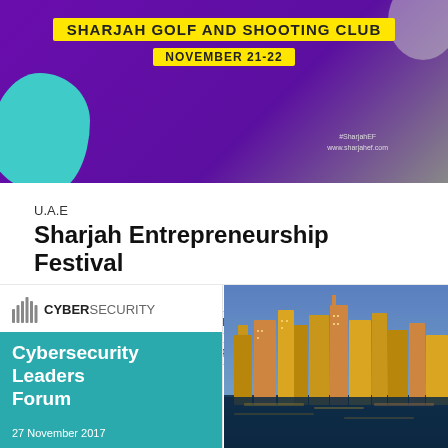[Figure (photo): Banner image for Sharjah Entrepreneurship Festival at Sharjah Golf and Shooting Club, November 21-22, with purple background and teal decorative blob]
U.A.E
Sharjah Entrepreneurship Festival
Wamda • 01 November, 2017
SHARJAH
ENTREPRENEURSHIP
SHARJAH ENTREPRENEURSHIP FESTIVAL
[Figure (photo): Cybersecurity Leaders Forum banner. Left side shows white background with cybersecurity logo (bar icon and CYBERSECURITY text) and teal/green section with 'Cybersecurity Leaders Forum' text and '27 November 2017' date. Right side shows a city skyline photo.]